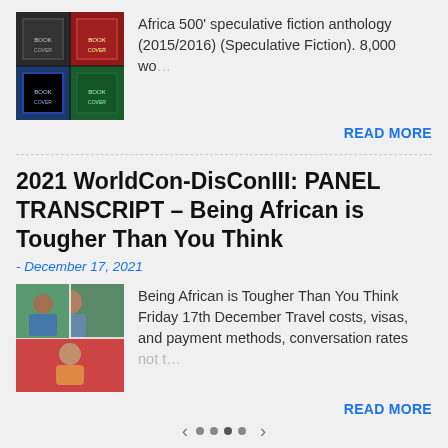[Figure (photo): Thumbnail collage of book covers for Africa 500 speculative fiction anthology]
Africa 500' speculative fiction anthology (2015/2016) (Speculative Fiction). 8,000 wo...
READ MORE
2021 WorldCon-DisConIII: PANEL TRANSCRIPT – Being African is Tougher Than You Think
- December 17, 2021
[Figure (photo): Video call screenshot showing two people in a panel discussion]
Being African is Tougher Than You Think Friday 17th December Travel costs, visas, and payment methods, conversation rates not t...
READ MORE